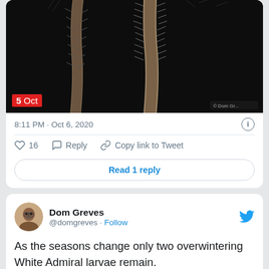[Figure (photo): Close-up macro photograph of caterpillar/insect on a dark background with spiky/hairy texture visible on branches]
5 Oct
8:11 PM · Oct 6, 2020
♡ 16   Reply   Copy link to Tweet
Read 1 reply
Dom Greves @domgreves · Follow
As the seasons change only two overwintering White Admiral larvae remain. #WhiteAdmiralWatch 🦋🍂🍂🐛

@BCSussex @SussexWildlife